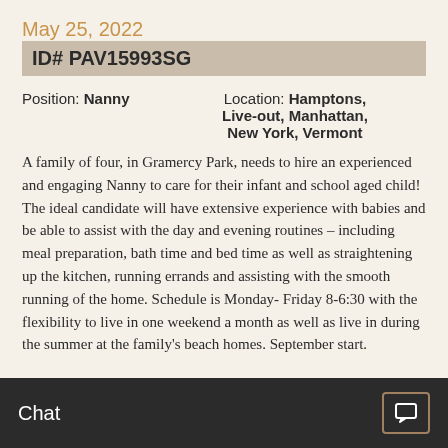May 25, 2022
ID# PAV15993SG
Position: Nanny   Location: Hamptons, Live-out, Manhattan, New York, Vermont
A family of four, in Gramercy Park, needs to hire an experienced and engaging Nanny to care for their infant and school aged child! The ideal candidate will have extensive experience with babies and be able to assist with the day and evening routines – including meal preparation, bath time and bed time as well as straightening up the kitchen, running errands and assisting with the smooth running of the home. Schedule is Monday- Friday 8-6:30 with the flexibility to live in one weekend a month as well as live in during the summer at the family’s beach homes. September start.
Chat